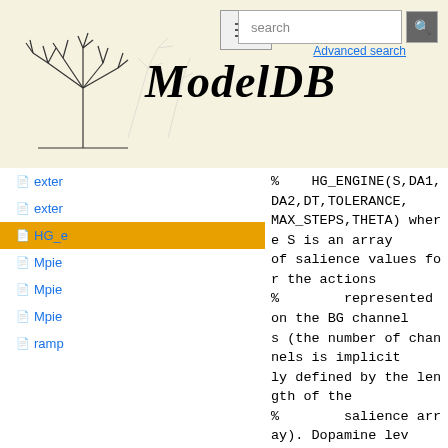ModelDB
exter
exter
HG_e
Mpie
Mpie
Mpie
ramp
%    HG_ENGINE(S,DA1,DA2,DT,TOLERANCE,
MAX_STEPS,THETA) where S is an array
of salience values for the actions
%        represented on the BG channel
s (the number of channels is implicitly defined by the length of the
%        salience array). Dopamine levels in the selection and control path
way are set by the values of DA1 and
DA2.
%        The time-step is DT, and the
model is run until either the change
in activation of all units is less than TOLERANCE
%        or MAX_STEPS has been reached. If the output of any GPi channel i
s below THETA then that channel is co
nsidered
%        selected. Returns: an array o
f the winning action(s) (channel(s)),